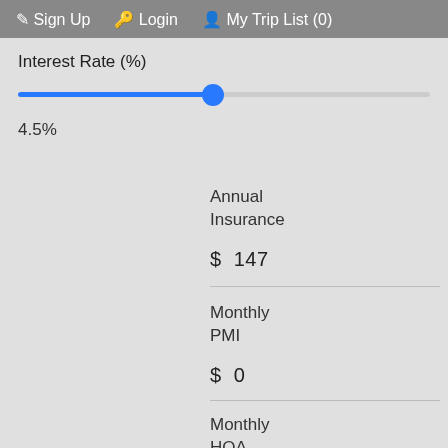Sign Up  Login  My Trip List (0)
Interest Rate (%)
[Figure (other): Horizontal slider control with blue fill to about 22% and blue circular thumb, gray track for remainder]
4.5%
Annual
Insurance
$ 147
Monthly
PMI
$ 0
Monthly
HOA
$ 0.00